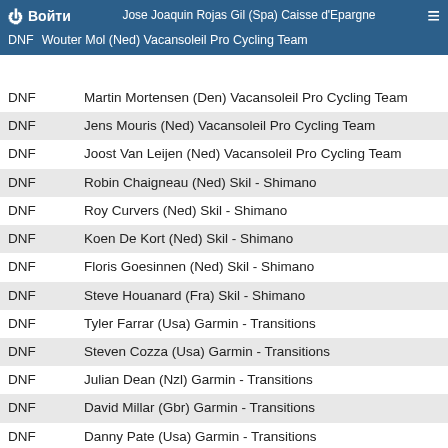Войти | Jose Joaquin Rojas Gil (Spa) Caisse d'Epargne
DNF Wouter Mol (Ned) Vacansoleil Pro Cycling Team
| Status | Rider |
| --- | --- |
| DNF | Martin Mortensen (Den) Vacansoleil Pro Cycling Team |
| DNF | Jens Mouris (Ned) Vacansoleil Pro Cycling Team |
| DNF | Joost Van Leijen (Ned) Vacansoleil Pro Cycling Team |
| DNF | Robin Chaigneau (Ned) Skil - Shimano |
| DNF | Roy Curvers (Ned) Skil - Shimano |
| DNF | Koen De Kort (Ned) Skil - Shimano |
| DNF | Floris Goesinnen (Ned) Skil - Shimano |
| DNF | Steve Houanard (Fra) Skil - Shimano |
| DNF | Tyler Farrar (Usa) Garmin - Transitions |
| DNF | Steven Cozza (Usa) Garmin - Transitions |
| DNF | Julian Dean (Nzl) Garmin - Transitions |
| DNF | David Millar (Gbr) Garmin - Transitions |
| DNF | Danny Pate (Usa) Garmin - Transitions |
| DNF | Ricardo Van Der Velde (Ned) Garmin - Transitions |
| DNF | Johan Van Summeren (Bel) Garmin - Transitions |
| DNF | Julien Berard (Fra) AG2R La Mondiale |
| DNF | Ben Gastauer (Lux) AG2R La Mondiale |
| DNF | Kristof Goddaert (Bel) AG2R La Mondiale |
| DNF | Yuriy Krivtsov (Ukr) AG2R La Mondiale |
| DNF | Nicolas Roux (Fra) AG2R La Mondiale |